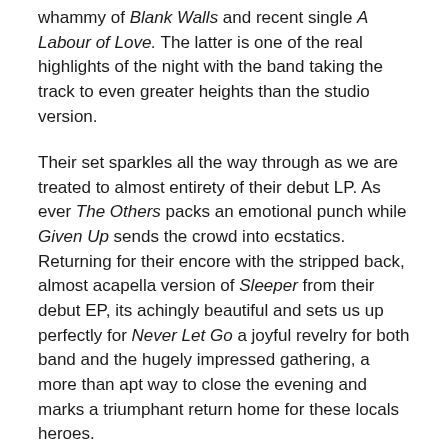whammy of Blank Walls and recent single A Labour of Love. The latter is one of the real highlights of the night with the band taking the track to even greater heights than the studio version.
Their set sparkles all the way through as we are treated to almost entirety of their debut LP. As ever The Others packs an emotional punch while Given Up sends the crowd into ecstatics. Returning for their encore with the stripped back, almost acapella version of Sleeper from their debut EP, its achingly beautiful and sets us up perfectly for Never Let Go a joyful revelry for both band and the hugely impressed gathering, a more than apt way to close the evening and marks a triumphant return home for these locals heroes.
Photo Credit : Richard Dowling